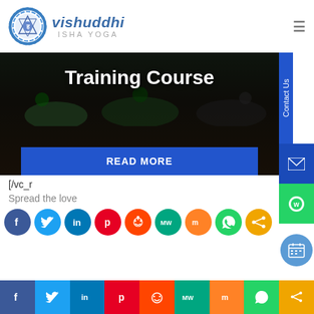[Figure (logo): Vishuddhi Isha Yoga logo with blue mandala/chakra icon and stylized text]
[Figure (photo): Dark banner image showing silhouettes of people in yoga poses with 'Training Course' title text overlay and blue READ MORE button]
[/vc_r
Spread the love
[Figure (infographic): Row of social media icon buttons: Facebook, Twitter, LinkedIn, Pinterest, Reddit, MeWe, Mix, WhatsApp, Share]
[Figure (infographic): Bottom social media bar with same icons in rectangular color blocks]